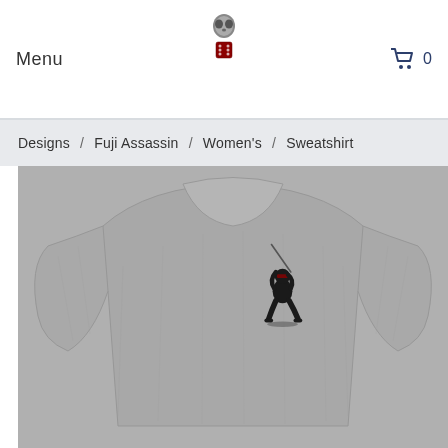Menu
[Figure (logo): Small alien/skull figure with red dice logo in center top of header]
[Figure (other): Shopping cart icon with 0 count]
Designs / Fuji Assassin / Women's / Sweatshirt
[Figure (photo): Grey heather women's crewneck sweatshirt with a small ninja/assassin figure holding a sword printed on the left chest area]